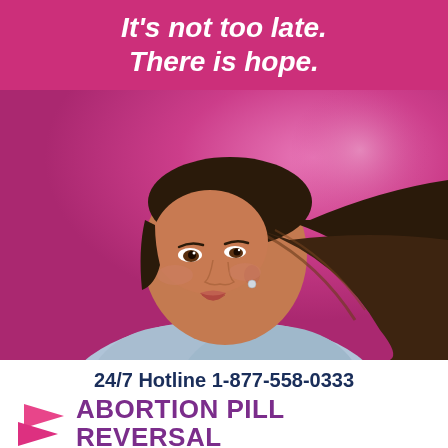It's not too late. There is hope.
[Figure (photo): Young woman with long brown hair, wearing a denim jacket, smiling over her shoulder against a pink background]
24/7 Hotline 1-877-558-0333
[Figure (logo): Abortion Pill Reversal logo with pink play button arrows]
ABORTION PILL REVERSAL